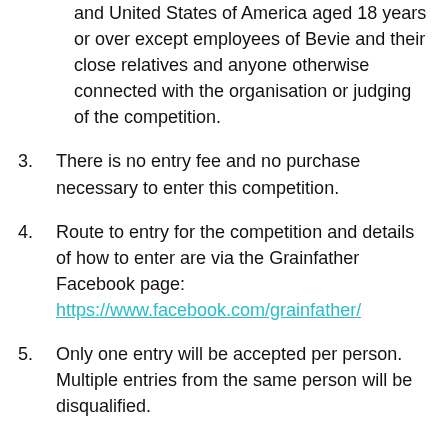and United States of America aged 18 years or over except employees of Bevie and their close relatives and anyone otherwise connected with the organisation or judging of the competition.
3. There is no entry fee and no purchase necessary to enter this competition.
4. Route to entry for the competition and details of how to enter are via the Grainfather Facebook page: https://www.facebook.com/grainfather/
5. Only one entry will be accepted per person. Multiple entries from the same person will be disqualified.